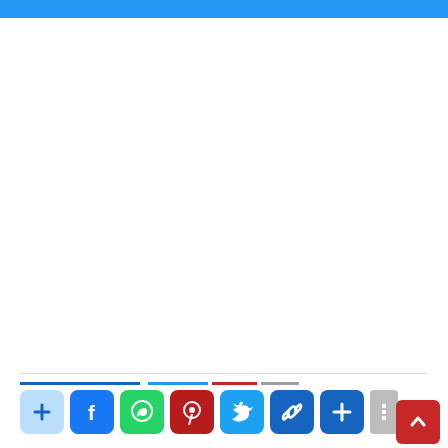[Figure (screenshot): Social media share button bar with icons for Add, Facebook, WhatsApp, Pinterest, Twitter, Copy Link, Share More, and a back-to-top red button]